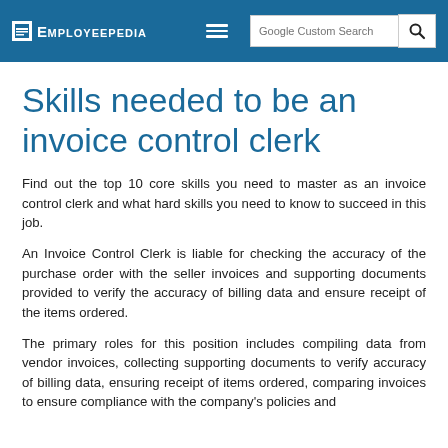EMPLOYEEPEDIA
Skills needed to be an invoice control clerk
Find out the top 10 core skills you need to master as an invoice control clerk and what hard skills you need to know to succeed in this job.
An Invoice Control Clerk is liable for checking the accuracy of the purchase order with the seller invoices and supporting documents provided to verify the accuracy of billing data and ensure receipt of the items ordered.
The primary roles for this position includes compiling data from vendor invoices, collecting supporting documents to verify accuracy of billing data, ensuring receipt of items ordered, comparing invoices to ensure compliance with the company's policies and